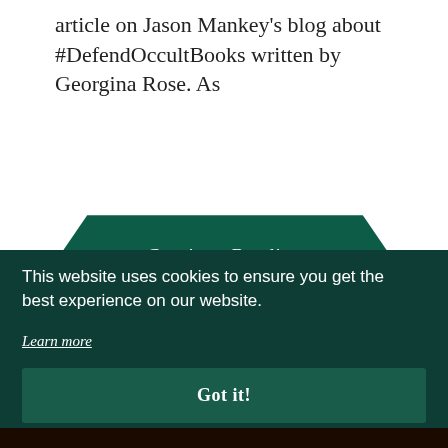article on Jason Mankey's blog about #DefendOccultBooks written by Georgina Rose. As
[Figure (other): Dark teal hexagon/arrow-shaped 'Continue Reading' button]
This website uses cookies to ensure you get the best experience on our website.
Learn more
Got it!